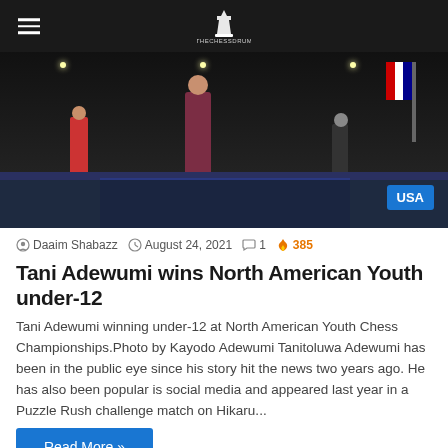The Chess Drum
[Figure (photo): Event photo showing a person in a dark red/maroon dress on a stage at what appears to be the North American Youth Chess Championships. A 'USA' badge is visible in the bottom right corner of the image.]
Daaim Shabazz   August 24, 2021   1   385
Tani Adewumi wins North American Youth under-12
Tani Adewumi winning under-12 at North American Youth Chess Championships.Photo by Kayodo Adewumi Tanitoluwa Adewumi has been in the public eye since his story hit the news two years ago. He has also been popular is social media and appeared last year in a Puzzle Rush challenge match on Hikaru...
Read More »